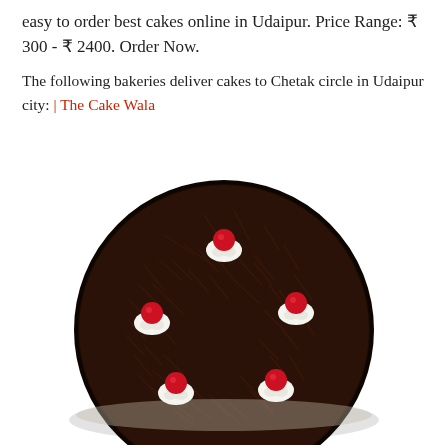easy to order best cakes online in Udaipur. Price Range: ₹ 300 - ₹ 2400. Order Now.
The following bakeries deliver cakes to Chetak circle in Udaipur city: | The Cake Wala
[Figure (photo): Top-down view of a black forest cake decorated with chocolate shavings, white cream rosettes, and red cherries on top]